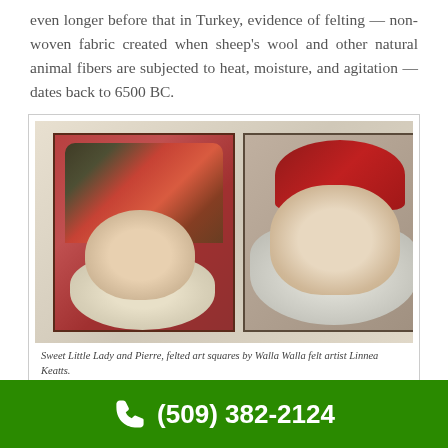even longer before that in Turkey, evidence of felting — non-woven fabric created when sheep's wool and other natural animal fibers are subjected to heat, moisture, and agitation — dates back to 6500 BC.
[Figure (photo): Two felted art squares side by side on a white fabric background. Left square shows 'Sweet Little Lady' — a Mrs. Claus figure with colorful hat, curly blonde hair, and smiling face. Right square shows 'Pierre' — a Santa Claus figure with red hat and large white-gray beard.]
Sweet Little Lady and Pierre, felted art squares by Walla Walla felt artist Linnea Keatts.
(509) 382-2124